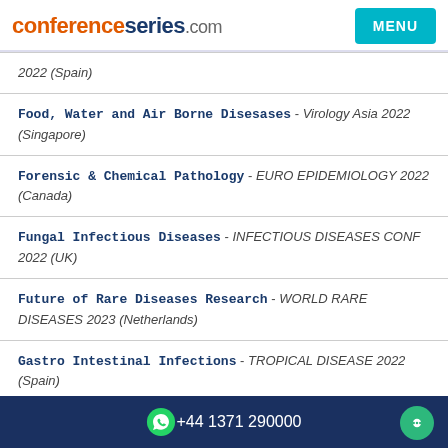conferenceseries.com | MENU
2022 (Spain)
Food, Water and Air Borne Disesases - Virology Asia 2022 (Singapore)
Forensic & Chemical Pathology - EURO EPIDEMIOLOGY 2022 (Canada)
Fungal Infectious Diseases - INFECTIOUS DISEASES CONF 2022 (UK)
Future of Rare Diseases Research - WORLD RARE DISEASES 2023 (Netherlands)
Gastro Intestinal Infections - TROPICAL DISEASE 2022 (Spain)
+44 1371 290000